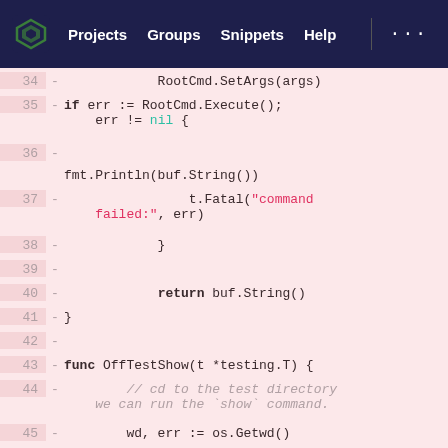[Figure (screenshot): Navigation bar of a code hosting web application with logo, Projects, Groups, Snippets, Help links on dark navy background]
Code diff view showing lines 34-49 of a Go source file, with deleted lines (marked with -) on a pink background. Lines show RootCmd.SetArgs(args), if err := RootCmd.Execute(); err != nil {, fmt.Println(buf.String()), t.Fatal("command failed:", err), }, return buf.String(), }, func OffTestShow(t *testing.T) {, // cd to the test directory we can run the 'show' command., wd, err := os.Getwd(), if err != nil {, t.Fatal(err), }, -